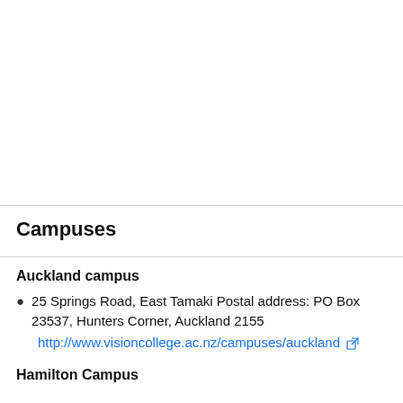Campuses
Auckland campus
25 Springs Road, East Tamaki Postal address: PO Box 23537, Hunters Corner, Auckland 2155
http://www.visioncollege.ac.nz/campuses/auckland
Hamilton Campus